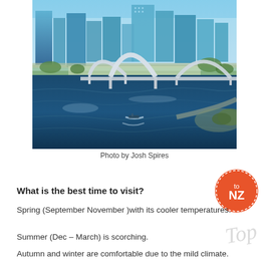[Figure (photo): Aerial view of a city waterfront with arch bridge, river, boats, and modern skyscrapers in the background under clear blue sky.]
Photo by Josh Spires
What is the best time to visit?
Spring (September  November )with its cooler temperatures.
Summer (Dec – March) is scorching.
Autumn and winter are comfortable due to the mild climate.